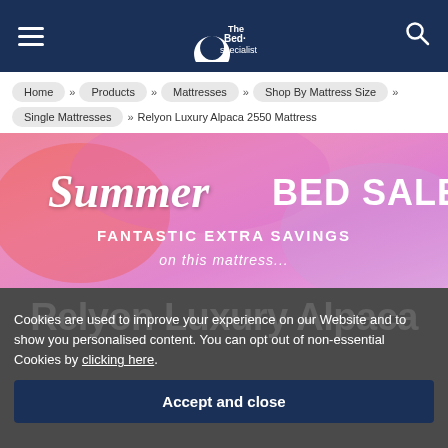The Bed Specialist — navigation header
Home » Products » Mattresses » Shop By Mattress Size » Single Mattresses » Relyon Luxury Alpaca 2550 Mattress
[Figure (illustration): Summer Bed Sale banner with colourful pink/red/purple gradient background. Text reads: Summer BED SALE — FANTASTIC EXTRA SAVINGS on this mattress...]
Relyon Luxury Alpaca 2550 Mattress
Cookies are used to improve your experience on our Website and to show you personalised content. You can opt out of non-essential Cookies by clicking here.
Accept and close